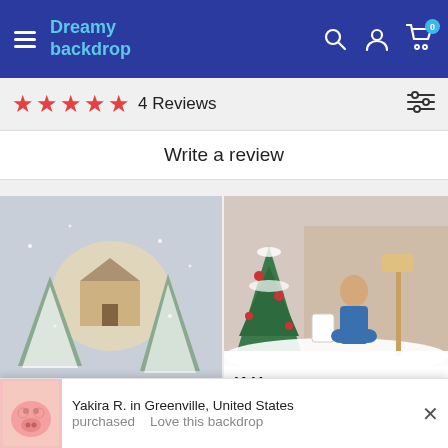Dreamy backdrop — navigation header with hamburger menu, search, account, and cart (0 items) icons
★★★★★  4 Reviews
Write a review
[Figure (photo): Left review photo: A snowy winter backdrop hung on a wall above a grey sofa, showing a lit cottage among snow-covered pine trees.]
[Figure (photo): Right review photo: A boy in denim overalls sitting on a snowy scene with a decorated Christmas tree, lantern, and lamp post backdrop.]
K H.
10/19/2020
Yakira R. in Greenville, United States
purchased    Love this backdrop